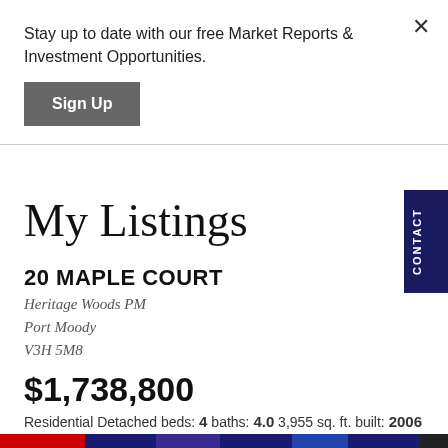Stay up to date with our free Market Reports & Investment Opportunities.
Sign Up
My Listings
20 MAPLE COURT
Heritage Woods PM
Port Moody
V3H 5M8
$1,738,800
Residential Detached beds: 4 baths: 4.0 3,955 sq. ft. built: 2006